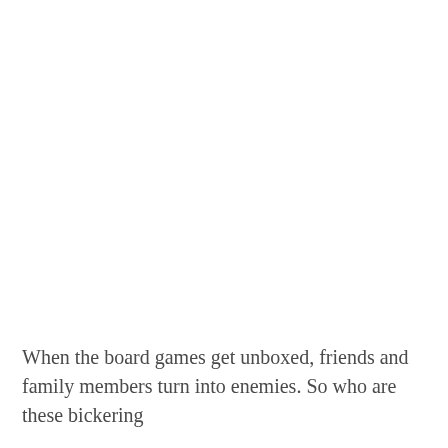When the board games get unboxed, friends and family members turn into enemies. So who are these bickering